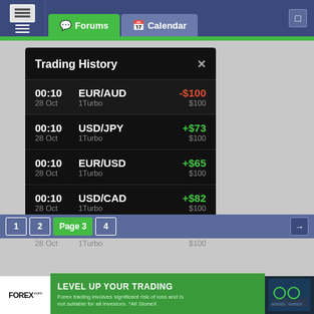Forums | Calendar
Trading History
| Time/Date | Pair/Type | P&L | Stake |
| --- | --- | --- | --- |
| 00:10 / 28 Oct | EUR/AUD / 1Turbo | -$100 | $100 |
| 00:10 / 28 Oct | USD/JPY / 1Turbo | +$73 | $100 |
| 00:10 / 28 Oct | EUR/USD / 1Turbo | +$65 | $100 |
| 00:10 / 28 Oct | USD/CAD / 1Turbo | +$82 | $100 |
| 00:10 / 28 Oct | AUD/USD / 1Turbo | +$81 | $100 |
1  2  Page 3  4
FOREX.com — LEVEL UP YOUR TRADING — Forex trading involves significant risk of loss and is not suitable for all investors. *All StoneX